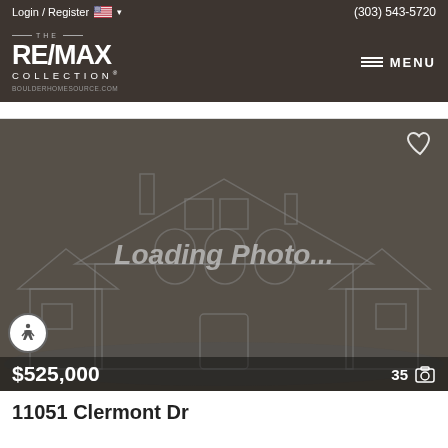Login / Register  (303) 543-5720
[Figure (logo): RE/MAX Collection logo with BOULDERHOMESOURCE.COM text and hamburger MENU button]
[Figure (illustration): Loading Photo... placeholder image with house outline illustration, heart favorite icon, $525,000 price label, and 35 photo count]
11051 Clermont Dr